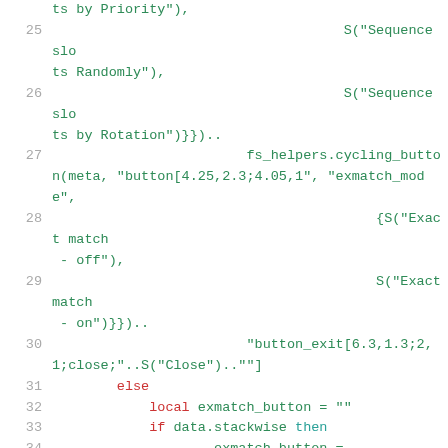Code listing showing Lua scripting with fs_helpers.cycling_button calls, slot sequencing, and exmatch_mode logic, lines 25-36